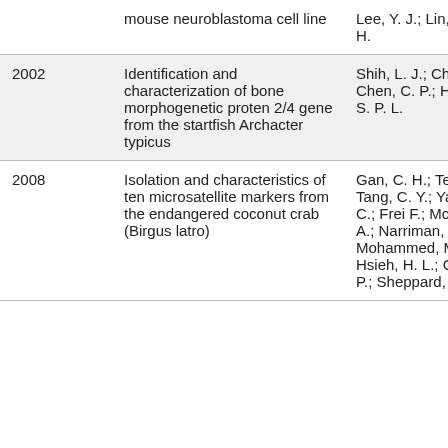| Year | Title | Authors |
| --- | --- | --- |
|  | mouse neuroblastoma cell line | Lee, Y. J.; Lin, S. Li, H. |
| 2002 | Identification and characterization of bone morphogenetic proten 2/4 gene from the startfish Archacter typicus | Shih, L. J.; Chen, A.; Chen, C. P.; Hwang, S. P. L. |
| 2008 | Isolation and characteristics of ten microsatellite markers from the endangered coconut crab (Birgus latro) | Gan, C. H.; Tee, S. M.; Tang, C. Y.; Yang, M. C.; Frei F.; McGowan, A.; Narriman, J.; Mohammed, M.; Hsieh, H. L.; Che C. P.; Sheppard, |